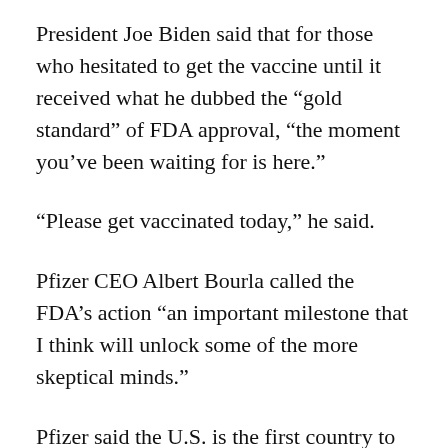President Joe Biden said that for those who hesitated to get the vaccine until it received what he dubbed the “gold standard” of FDA approval, “the moment you’ve been waiting for is here.”
“Please get vaccinated today,” he said.
Pfizer CEO Albert Bourla called the FDA’s action “an important milestone that I think will unlock some of the more skeptical minds.”
Pfizer said the U.S. is the first country to grant full approval of its vaccine, in a process that